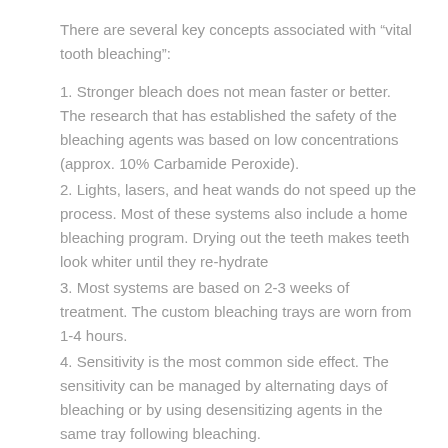There are several key concepts associated with “vital tooth bleaching”:
1. Stronger bleach does not mean faster or better. The research that has established the safety of the bleaching agents was based on low concentrations (approx. 10% Carbamide Peroxide).
2. Lights, lasers, and heat wands do not speed up the process. Most of these systems also include a home bleaching program. Drying out the teeth makes teeth look whiter until they re-hydrate
3. Most systems are based on 2-3 weeks of treatment. The custom bleaching trays are worn from 1-4 hours.
4. Sensitivity is the most common side effect. The sensitivity can be managed by alternating days of bleaching or by using desensitizing agents in the same tray following bleaching.